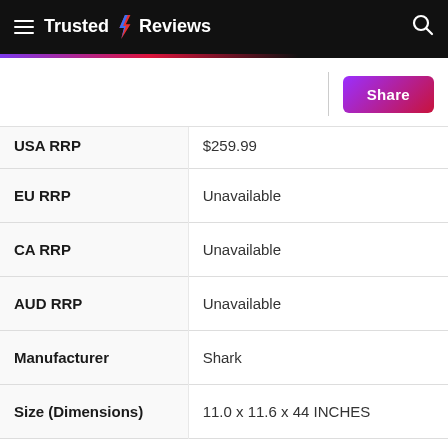Trusted Reviews
| Attribute | Value |
| --- | --- |
| USA RRP | $259.99 |
| EU RRP | Unavailable |
| CA RRP | Unavailable |
| AUD RRP | Unavailable |
| Manufacturer | Shark |
| Size (Dimensions) | 11.0 x 11.6 x 44 INCHES |